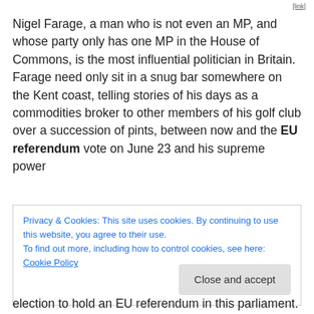[logo/link]
Nigel Farage, a man who is not even an MP, and whose party only has one MP in the House of Commons, is the most influential politician in Britain. Farage need only sit in a snug bar somewhere on the Kent coast, telling stories of his days as a commodities broker to other members of his golf club over a succession of pints, between now and the EU referendum vote on June 23 and his supreme power
Privacy & Cookies: This site uses cookies. By continuing to use this website, you agree to their use.
To find out more, including how to control cookies, see here: Cookie Policy
Close and accept
election to hold an EU referendum in this parliament.